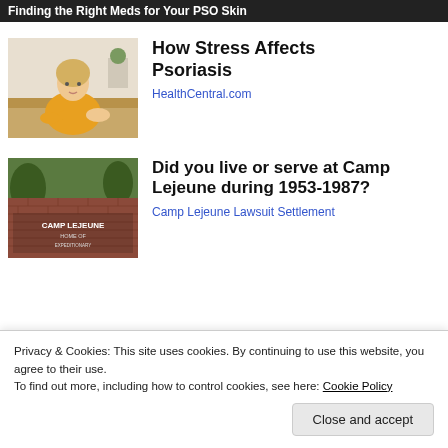Finding the Right Meds for Your PSO Skin
[Figure (photo): Woman in yellow sweater scratching her arm, seated on a couch]
How Stress Affects Psoriasis
HealthCentral.com
[Figure (photo): Camp Lejeune sign, brick wall with text CAMP LEJEUNE HOME OF EXPEDITIONARY]
Did you live or serve at Camp Lejeune during 1953-1987?
Camp Lejeune Lawsuit Settlement
Privacy & Cookies: This site uses cookies. By continuing to use this website, you agree to their use.
To find out more, including how to control cookies, see here: Cookie Policy
Close and accept